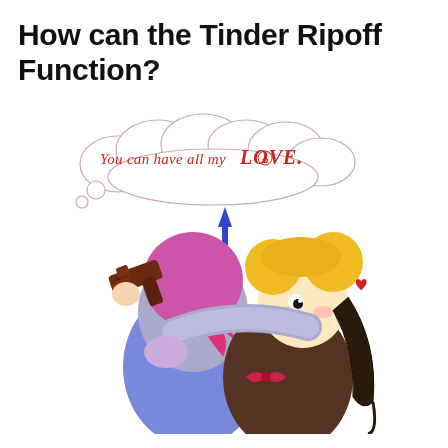How can the Tinder Ripoff Function?
[Figure (illustration): Anime-style cartoon illustration of two characters hugging. One character wears a pink/magenta bandana and holds a gun, dressed in blue. The other character has blonde hair in buns and long dark braids, wearing a dark outfit with a bow. A speech bubble cloud at the top reads 'You can have all my LOVE.' in decorative red/pink lettering. A small blue arrow points down near the hugging characters.]